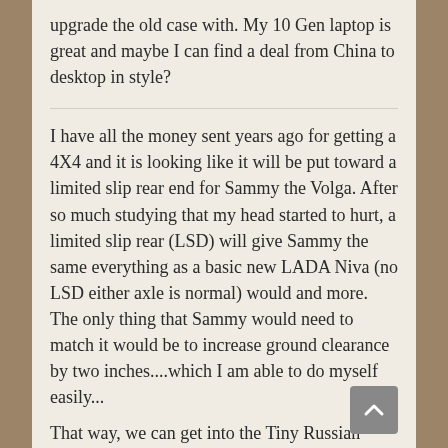upgrade the old case with. My 10 Gen laptop is great and maybe I can find a deal from China to desktop in style?
I have all the money sent years ago for getting a 4X4 and it is looking like it will be put toward a limited slip rear end for Sammy the Volga. After so much studying that my head started to hurt, a limited slip rear (LSD) will give Sammy the same everything as a basic new LADA Niva (no LSD either axle is normal) would and more. The only thing that Sammy would need to match it would be to increase ground clearance by two inches....which I am able to do myself easily...
That way, we can get into the Tiny Russian Village in winter if we desire...